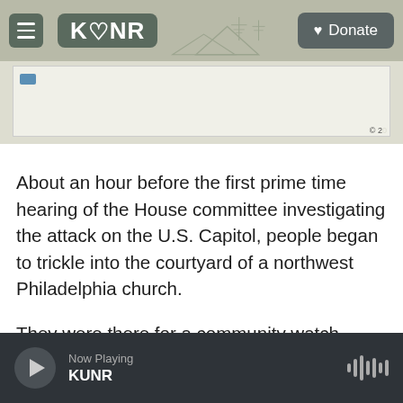KUNR — Donate
[Figure (screenshot): Partial map view with copyright watermark]
About an hour before the first prime time hearing of the House committee investigating the attack on the U.S. Capitol, people began to trickle into the courtyard of a northwest Philadelphia church.
They were there for a community watch event, one of roughly 90 organized by liberal activists, urging people to gather to watch the rare, televised evening hearing together.
Now Playing KUNR